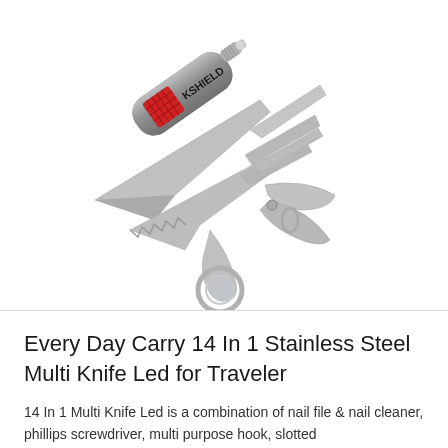[Figure (photo): A KSHIELD branded stainless steel multi-tool knife with 14 functions deployed, including blade, saw, scissors, nail file, screwdrivers, and other tools, with a red inset panel on the silver handle and an LED light at the top.]
Every Day Carry 14 In 1 Stainless Steel Multi Knife Led for Traveler
14 In 1 Multi Knife Led is a combination of nail file & nail cleaner, phillips screwdriver, multi purpose hook, slotted